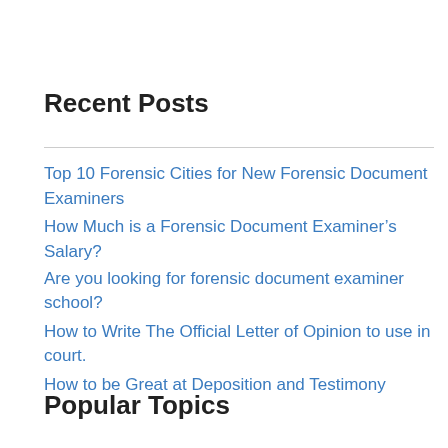Recent Posts
Top 10 Forensic Cities for New Forensic Document Examiners
How Much is a Forensic Document Examiner’s Salary?
Are you looking for forensic document examiner school?
How to Write The Official Letter of Opinion to use in court.
How to be Great at Deposition and Testimony
Popular Topics